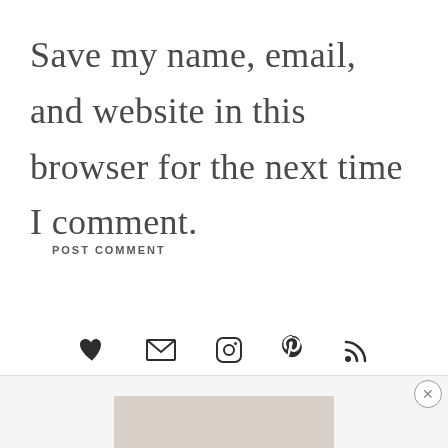Save my name, email, and website in this browser for the next time I comment.
POST COMMENT
[Figure (infographic): Social media icon row: heart, envelope, Instagram, Pinterest, RSS feed icons]
[Figure (screenshot): Bottom ad/content bar with close (X) button and a light-colored image thumbnail]